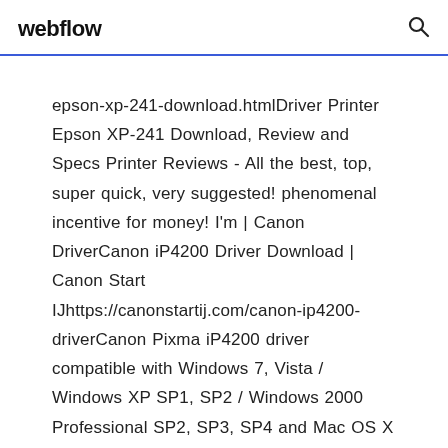webflow
epson-xp-241-download.htmlDriver Printer Epson XP-241 Download, Review and Specs Printer Reviews - All the best, top, super quick, very suggested! phenomenal incentive for money! I'm | Canon DriverCanon iP4200 Driver Download | Canon Start IJhttps://canonstartij.com/canon-ip4200-driverCanon Pixma iP4200 driver compatible with Windows 7, Vista / Windows XP SP1, SP2 / Windows 2000 Professional SP2, SP3, SP4 and Mac OS X v.10.2.8 – v.10.4. Free Canon Pixma iP6320D Driver Download Support Canon Printer Drivers for Windows, Mac OS X, and Linux OS